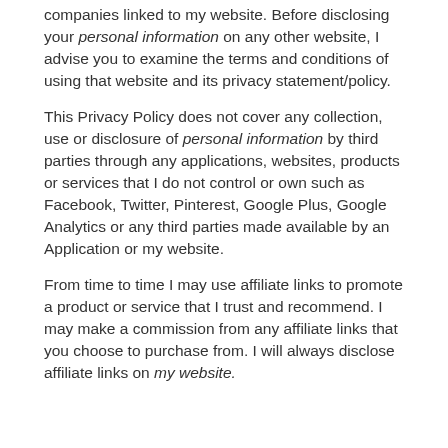companies linked to my website. Before disclosing your personal information on any other website, I advise you to examine the terms and conditions of using that website and its privacy statement/policy.
This Privacy Policy does not cover any collection, use or disclosure of personal information by third parties through any applications, websites, products or services that I do not control or own such as Facebook, Twitter, Pinterest, Google Plus, Google Analytics or any third parties made available by an Application or my website.
From time to time I may use affiliate links to promote a product or service that I trust and recommend. I may make a commission from any affiliate links that you choose to purchase from. I will always disclose affiliate links on my website.